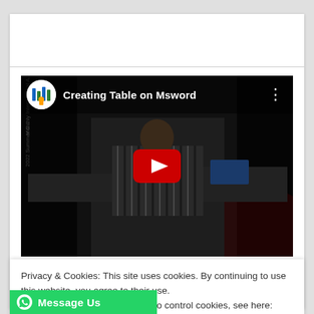[Figure (screenshot): YouTube video embed showing 'Creating Table on Msword' with a channel logo, video title, three-dot menu, and a large red play button over a dark thumbnail of a person in a striped shirt in an office/classroom setting.]
Privacy & Cookies: This site uses cookies. By continuing to use this website, you agree to their use.
To find out more, including how to control cookies, see here: Cookie Policy
Close and accept
Message Us